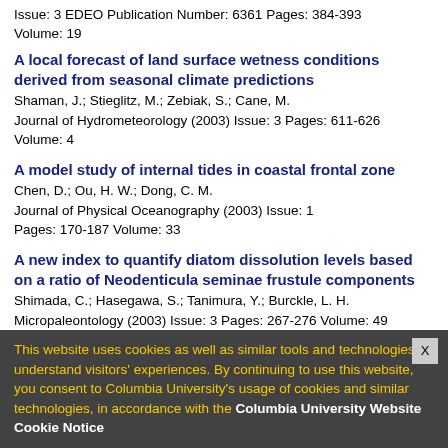Issue: 3  EDEO Publication Number: 6361  Pages: 384-393
Volume: 19
A local forecast of land surface wetness conditions derived from seasonal climate predictions
Shaman, J.; Stieglitz, M.; Zebiak, S.; Cane, M.
Journal of Hydrometeorology  (2003)    Issue: 3  Pages: 611-626
Volume: 4
A model study of internal tides in coastal frontal zone
Chen, D.; Ou, H. W.; Dong, C. M.
Journal of Physical Oceanography  (2003)    Issue: 1
Pages: 170-187    Volume: 33
A new index to quantify diatom dissolution levels based on a ratio of Neodenticula seminae frustule components
Shimada, C.; Hasegawa, S.; Tanimura, Y.; Burckle, L. H.
Micropaleontology  (2003)    Issue: 3  Pages: 267-276    Volume: 49
This website uses cookies as well as similar tools and technologies to understand visitors' experiences. By continuing to use this website, you consent to Columbia University's usage of cookies and similar technologies, in accordance with the Columbia University Website Cookie Notice
E.; Kleeman, R.; Keenlyside, N.
Geophysical Research Letters  (2003)    Issue: 19  Pages: -